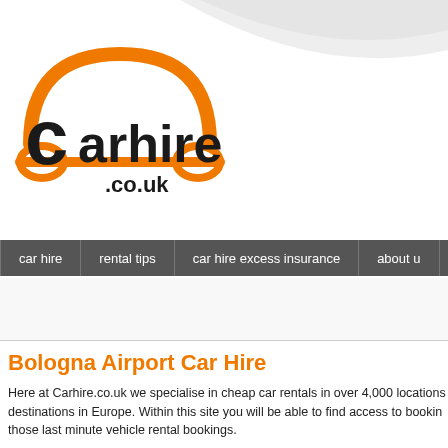[Figure (logo): carhire.co.uk logo — orange car/dome shape outline with black bold text 'carhire' and '.co.uk' below]
car hire | rental tips | car hire excess insurance | about u
Bologna Airport Car Hire
Here at Carhire.co.uk we specialise in cheap car rentals in over 4,000 locations destinations in Europe. Within this site you will be able to find access to bookin those last minute vehicle rental bookings.
With car hire you can book with Alamo, Hertz, Avis, Budget, Dollar, Thrifty and
Guide to Bologna Airport car hire in Italy